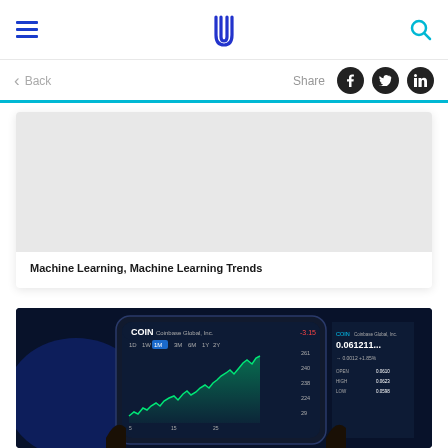Udacity header with hamburger menu, logo, and search icon
< Back    Share
Machine Learning, Machine Learning Trends
[Figure (screenshot): Screenshot of a crypto trading app (COIN) on a smartphone showing a line chart with financial data on a dark blue background]